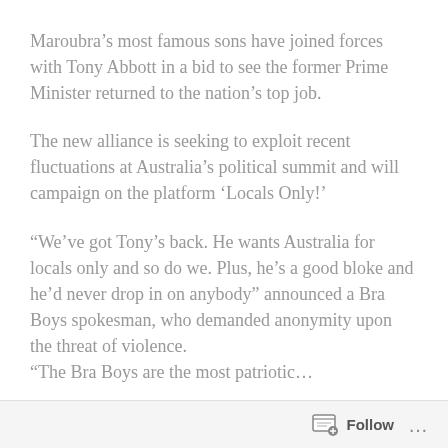Maroubra's most famous sons have joined forces with Tony Abbott in a bid to see the former Prime Minister returned to the nation's top job.
The new alliance is seeking to exploit recent fluctuations at Australia's political summit and will campaign on the platform 'Locals Only!'
"We've got Tony's back. He wants Australia for locals only and so do we. Plus, he's a good bloke and he'd never drop in on anybody" announced a Bra Boys spokesman, who demanded anonymity upon the threat of violence.
"The Bra Boys are the most patriotic...
Follow ...